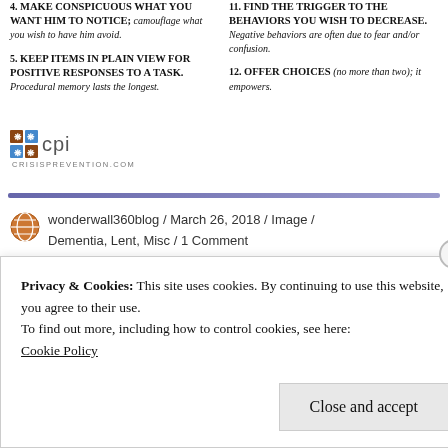4. MAKE CONSPICUOUS WHAT YOU WANT HIM TO NOTICE; camouflage what you wish to have him avoid.
5. KEEP ITEMS IN PLAIN VIEW FOR POSITIVE RESPONSES TO A TASK. Procedural memory lasts the longest.
11. FIND THE TRIGGER TO THE BEHAVIORS YOU WISH TO DECREASE. Negative behaviors are often due to fear and/or confusion.
12. OFFER CHOICES (no more than two); it empowers.
[Figure (logo): CPI (Crisis Prevention Institute) logo with globe icon and text 'cpi' and URL crisisprevention.com]
wonderwall360blog / March 26, 2018 / Image / Dementia, Lent, Misc / 1 Comment
Privacy & Cookies: This site uses cookies. By continuing to use this website, you agree to their use.
To find out more, including how to control cookies, see here: Cookie Policy
Close and accept